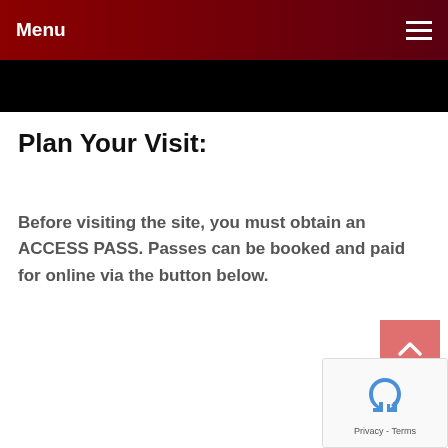Menu
[Figure (other): Black image/banner bar below the navigation header]
Plan Your Visit:
Before visiting the site, you must obtain an ACCESS PASS. Passes can be booked and paid for online via the button below.